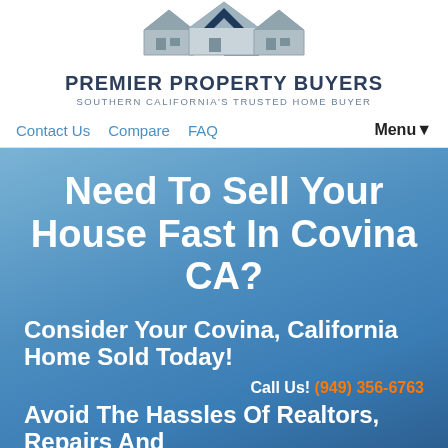[Figure (logo): Premier Property Buyers logo with house rooftops silhouette in grey and dark navy blue]
PREMIER PROPERTY BUYERS
SOUTHERN CALIFORNIA'S TRUSTED HOME BUYER
Contact Us   Compare   FAQ   Menu▼
Need To Sell Your House Fast In Covina CA?
Consider Your Covina, California Home Sold Today!
Call Us! (949) 356-6763
Avoid The Hassles Of Realtors, Repairs And